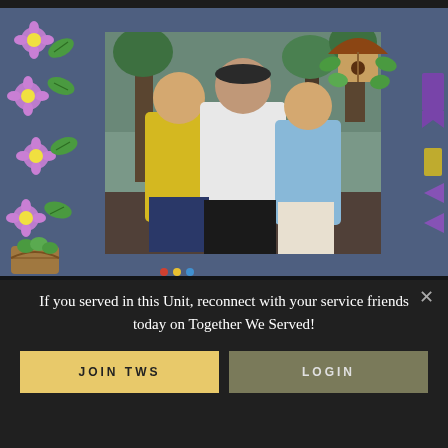[Figure (photo): A scrapbook-style photo showing three people (a younger woman in a yellow shirt on the left, a large man in a white shirt and cap in the center, and an older woman in a light blue shirt on the right) standing outdoors. The photo is mounted on a blue-grey scrapbook page decorated with cartoon flowers (purple with yellow centers) on the left border, decorative sticker elements on the right, a mushroom/birdhouse corner sticker top-right, and a basket of vegetables bottom-left.]
If you served in this Unit, reconnect with your service friends today on Together We Served!
JOIN TWS
LOGIN